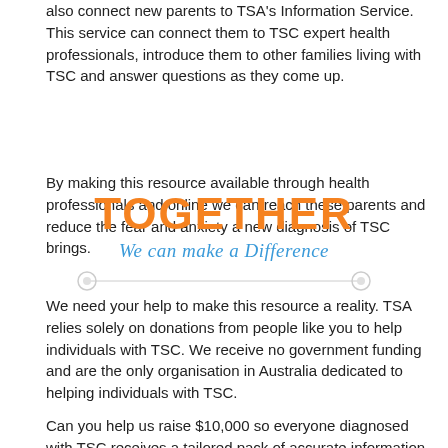also connect new parents to TSA's Information Service. This service can connect them to TSC expert health professionals, introduce them to other families living with TSC and answer questions as they come up.
By making this resource available through health professionals and online we can reach these parents and reduce the fear and anxiety a new diagnosis of TSC brings.
[Figure (illustration): Graphic with bold orange uppercase text 'TOGETHER' and blue italic script 'We can make a Difference' with a decorative horizontal line with circular endpoints.]
We need your help to make this resource a reality. TSA relies solely on donations from people like you to help individuals with TSC. We receive no government funding and are the only organisation in Australia dedicated to helping individuals with TSC.
Can you help us raise $10,000 so everyone diagnosed with TSC receives a tailored pack of accurate information and someone to turn to in their time of need?